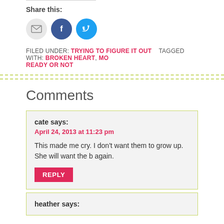Share this:
[Figure (infographic): Three social sharing icons: email (grey circle), Facebook (dark blue circle with f logo), Twitter (light blue circle with bird logo)]
FILED UNDER: TRYING TO FIGURE IT OUT   TAGGED WITH: BROKEN HEART, MO   READY OR NOT
Comments
cate says:
April 24, 2013 at 11:23 pm
This made me cry. I don't want them to grow up. She will want the b again.
REPLY
heather says: